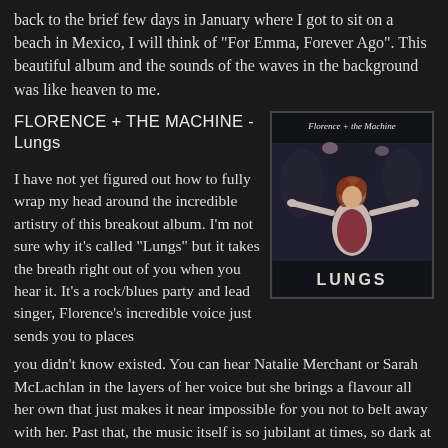back to the brief few days in January where I got to sit on a beach in Mexico, I will think of "For Emma, Forever Ago". This beautiful album and the sounds of the waves in the background was like heaven to me.
FLORENCE + THE MACHINE - Lungs
[Figure (photo): Album cover for Florence + The Machine 'Lungs'. Shows Florence with reddish hair wearing a white corset-like garment, arms spread, with a dark floral background. Title 'Florence + the Machine' in script at top, 'LUNGS' in block letters at bottom.]
I have not yet figured out how to fully wrap my head around the incredible artistry of this breakout album. I'm not sure why it's called "Lungs" but it takes the breath right out of you when you hear it. It's a rock/blues party and lead singer, Florence's incredible voice just sends you to places you didn't know existed. You can hear Natalie Merchant or Sarah McLachlan in the layers of her voice but she brings a flavour all her own that just makes it near impossible for you not to belt away with her. Past that, the music itself is so jubilant at times, so dark at others and always played with